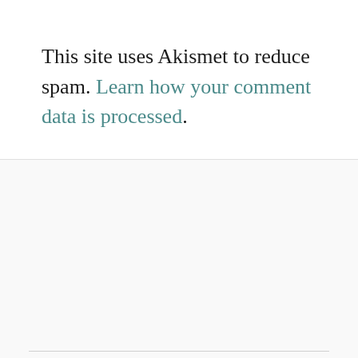This site uses Akismet to reduce spam. Learn how your comment data is processed.
KINGS COUNTY STUDIO TOUR
[Figure (logo): Kings County Studio Tour logo: a stylized black bird or phoenix shape with spread feathers at the top and a curved S-shaped body, forming a circular emblem.]